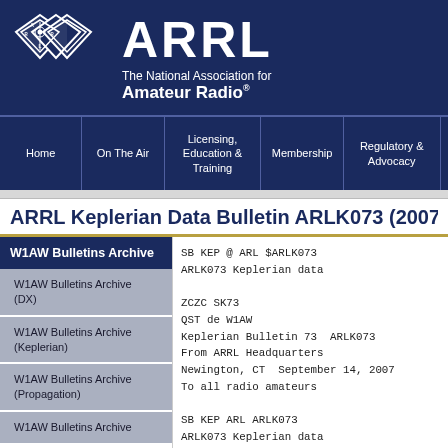ARRL The National Association for Amateur Radio
Home | On The Air | Licensing, Education & Training | Membership | Regulatory & Advocacy
ARRL Keplerian Data Bulletin ARLK073 (2007...)
W1AW Bulletins Archive
W1AW Bulletins Archive (DX)
W1AW Bulletins Archive (Keplerian)
W1AW Bulletins Archive (Propagation)
W1AW Bulletins Archive
SB KEP @ ARL $ARLK073
ARLK073 Keplerian data

ZCZC SK73
QST de W1AW
Keplerian Bulletin 73  ARLK073
From ARRL Headquarters
Newington, CT  September 14, 2007
To all radio amateurs

SB KEP ARL ARLK073
ARLK073 Keplerian data